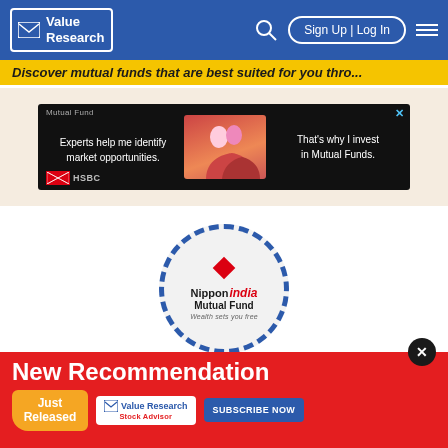Value Research — Sign Up | Log In
Discover mutual funds that are best suited for you thro...
[Figure (advertisement): HSBC Mutual Fund ad: black background, text 'Experts help me identify market opportunities.' with couple image and 'That's why I invest in Mutual Funds.' with HSBC logo]
[Figure (logo): Nippon India Mutual Fund logo inside a blue dashed circle: red diamond icon, 'Nippon india Mutual Fund' text, tagline 'Wealth sets you free']
[Figure (advertisement): Red banner ad: 'New Recommendation' in white bold text, 'Just Released' orange speech bubble, Value Research Stock Advisor logo, 'SUBSCRIBE NOW' blue button]